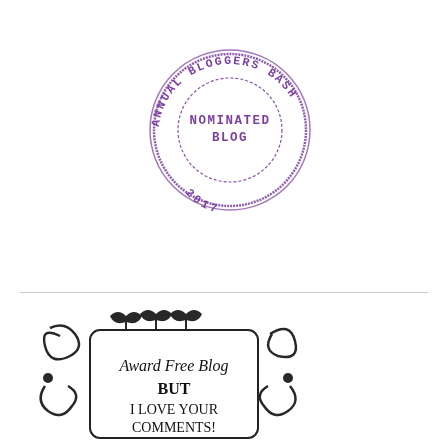[Figure (illustration): Circular stamp badge in purple with text 'ANNUAL BLOGGERS BASH' around the outside and 'NOMINATED BLOG 2017' in the center, with dashed inner circle]
[Figure (illustration): Decorative black flourish/scroll border with floral elements surrounding a rounded rectangle with text 'Award Free Blog BUT I LOVE YOUR COMMENTS!']